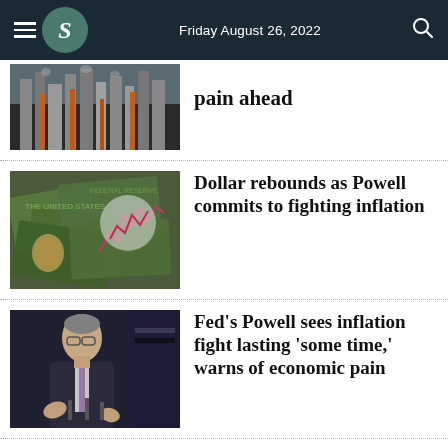Friday August 26, 2022
[Figure (photo): Aerial view of industrial facility with smokestacks (partial, top of article cut off)]
pain ahead
[Figure (photo): US dollar bills scattered with a financial chart overlay]
Dollar rebounds as Powell commits to fighting inflation
[Figure (photo): Fed Chair Jerome Powell speaking at a press conference with US flag in background]
Fed's Powell sees inflation fight lasting 'some time,' warns of economic pain
[Figure (photo): Partial image of a man outdoors with trees in background (Fed's Harker article)]
Fed's Harker: Any US recession would be